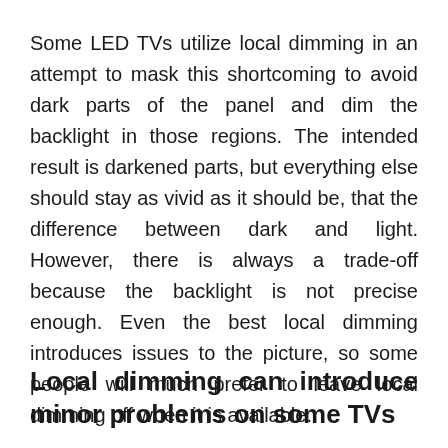Some LED TVs utilize local dimming in an attempt to mask this shortcoming to avoid dark parts of the panel and dim the backlight in those regions. The intended result is darkened parts, but everything else should stay as vivid as it should be, that the difference between dark and light. However, there is always a trade-off because the backlight is not precise enough. Even the best local dimming introduces issues to the picture, so some people will much prefer to leave local dimming off when it is available.
Local dimming can introduce minor problems on some TVs